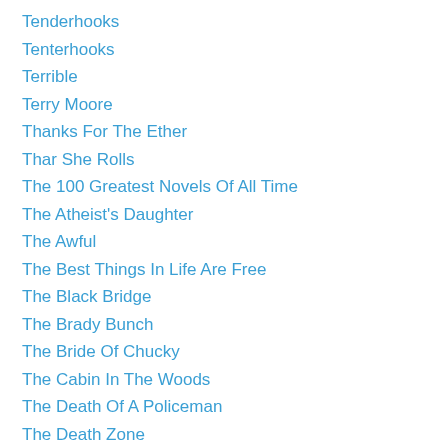Tenderhooks
Tenterhooks
Terrible
Terry Moore
Thanks For The Ether
Thar She Rolls
The 100 Greatest Novels Of All Time
The Atheist's Daughter
The Awful
The Best Things In Life Are Free
The Black Bridge
The Brady Bunch
The Bride Of Chucky
The Cabin In The Woods
The Death Of A Policeman
The Death Zone
The Faust And The Furious
The Fifth Brother
The Getaway Car: A Donald Westlake Nonfiction Miscellany
The Guild
The Ivory Locket